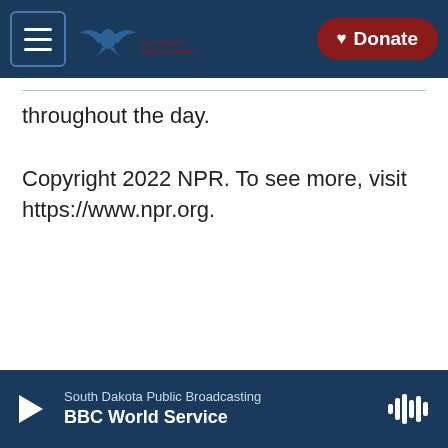SDPB South Dakota Public Broadcasting | Donate
throughout the day.
Copyright 2022 NPR. To see more, visit https://www.npr.org.
South Dakota Public Broadcasting — BBC World Service